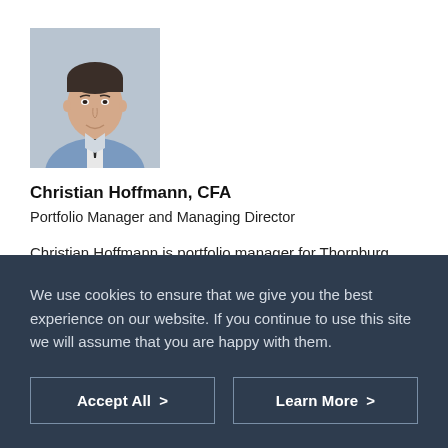[Figure (photo): Headshot photo of Christian Hoffmann, a man in a blue suit and tie, smiling, with a light/gray background]
Christian Hoffmann, CFA
Portfolio Manager and Managing Director
Christian Hoffmann is portfolio manager for Thornburg Investment Management. He joined the firm in 2012 as a fixed
We use cookies to ensure that we give you the best experience on our website. If you continue to use this site we will assume that you are happy with them.
Accept All >
Learn More >